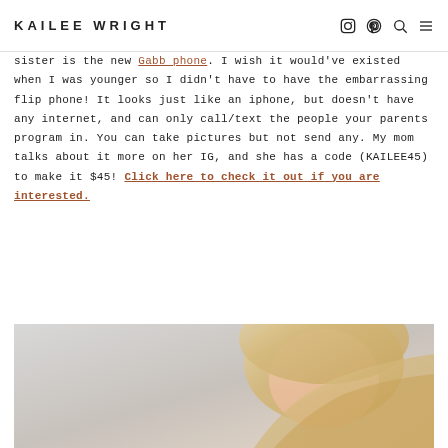KAILEE WRIGHT
sister is the new Gabb phone. I wish it would've existed when I was younger so I didn't have to have the embarrassing flip phone! It looks just like an iphone, but doesn't have any internet, and can only call/text the people your parents program in. You can take pictures but not send any. My mom talks about it more on her IG, and she has a code (KAILEE45) to make it $45! Click here to check it out if you are interested.
[Figure (photo): Partial view of a blonde person, cropped at bottom of page, head slightly tilted, light background]